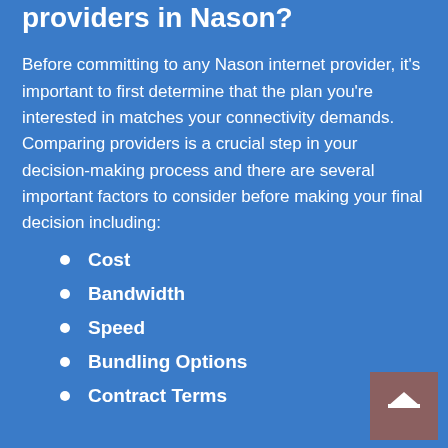providers in Nason?
Before committing to any Nason internet provider, it's important to first determine that the plan you're interested in matches your connectivity demands. Comparing providers is a crucial step in your decision-making process and there are several important factors to consider before making your final decision including:
Cost
Bandwidth
Speed
Bundling Options
Contract Terms